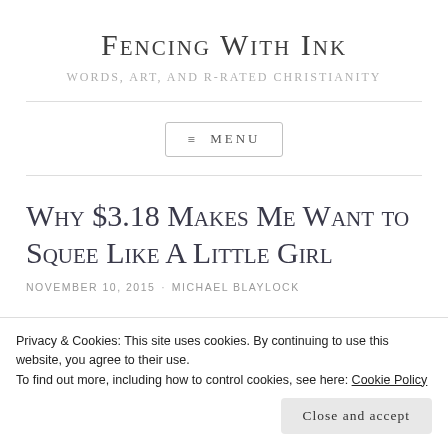Fencing With Ink
Words, Art, and R-Rated Christianity
≡ MENU
Why $3.18 Makes Me Want to Squee Like A Little Girl
NOVEMBER 10, 2015 · MICHAEL BLAYLOCK
Privacy & Cookies: This site uses cookies. By continuing to use this website, you agree to their use.
To find out more, including how to control cookies, see here: Cookie Policy
Close and accept